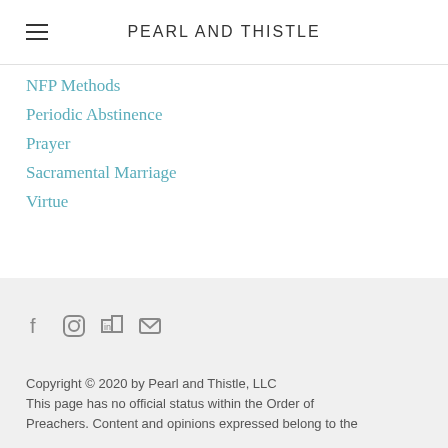PEARL AND THISTLE
NFP Methods
Periodic Abstinence
Prayer
Sacramental Marriage
Virtue
RSS Feed
Copyright © 2020 by Pearl and Thistle, LLC
This page has no official status within the Order of Preachers. Content and opinions expressed belong to the